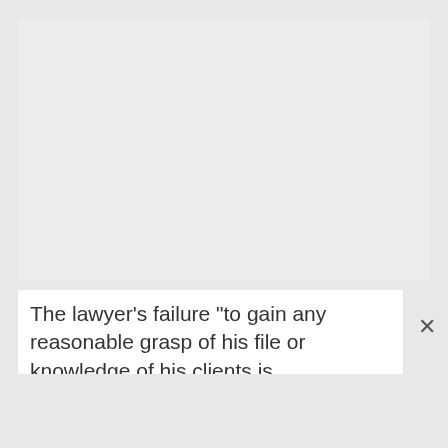[Figure (other): Large light gray rectangular image placeholder area]
The lawyer's failure "to gain any reasonable grasp of his file or knowledge of his clients is bewildering,"